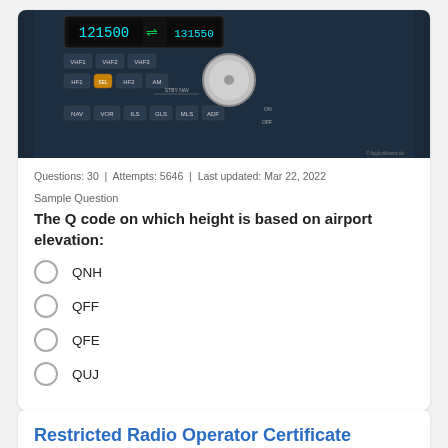[Figure (photo): Close-up photo of an aircraft cockpit radio/navigation control panel with VHF1, VHF2, VHF3, HF1, HF2, AM, NAV, VOR, ILS, GLS, MLS, ADF buttons and frequency displays showing 121500 and 131550]
Questions: 30  |  Attempts: 5646  |  Last updated: Mar 22, 2022
Sample Question
The Q code on which height is based on airport elevation:
QNH
QFF
QFE
QUJ
Restricted Radio Operator Certificate Aeronautical